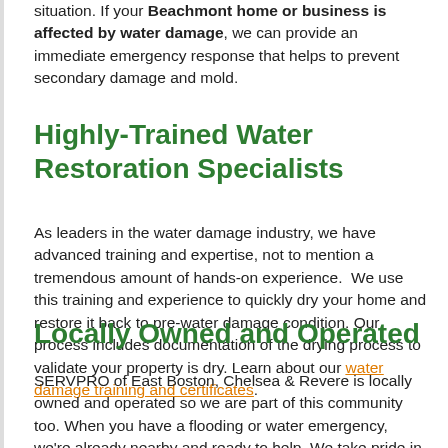situation. If your Beachmont home or business is affected by water damage, we can provide an immediate emergency response that helps to prevent secondary damage and mold.
Highly-Trained Water Restoration Specialists
As leaders in the water damage industry, we have advanced training and expertise, not to mention a tremendous amount of hands-on experience.  We use this training and experience to quickly dry your home and restore it back to pre-water damage condition. Our process includes documentation of the drying process to validate your property is dry. Learn about our water damage training and certificates.
Locally Owned and Operated
SERVPRO of East Boston, Chelsea & Revere is locally owned and operated so we are part of this community too. When you have a flooding or water emergency, we're already nearby and ready to help. We take pride in being a part of the Beachmont community and want to do our part in